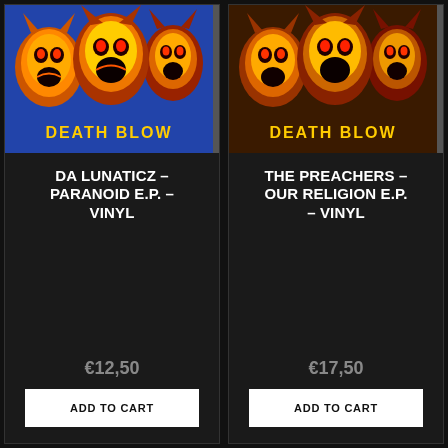[Figure (photo): Album cover of Death Blow - Paranoid E.P. showing three demonic/devil mask faces in orange and yellow tones on a blue background with text 'DEATH BLOW' at the bottom]
DA LUNATICZ – PARANOID E.P. – VINYL
€12,50
ADD TO CART
[Figure (photo): Album cover of Death Blow - Our Religion E.P. showing three demonic/devil mask faces in orange and yellow tones on a dark/brown background with text 'DEATH BLOW' at the bottom]
THE PREACHERS – OUR RELIGION E.P. – VINYL
€17,50
ADD TO CART